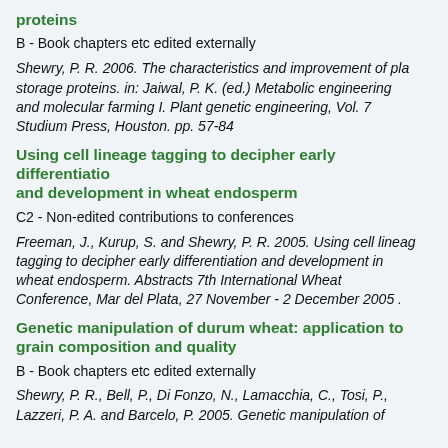proteins
B - Book chapters etc edited externally
Shewry, P. R. 2006. The characteristics and improvement of plant storage proteins. in: Jaiwal, P. K. (ed.) Metabolic engineering and molecular farming I. Plant genetic engineering, Vol. 7 Studium Press, Houston. pp. 57-84
Using cell lineage tagging to decipher early differentiation and development in wheat endosperm
C2 - Non-edited contributions to conferences
Freeman, J., Kurup, S. and Shewry, P. R. 2005. Using cell lineage tagging to decipher early differentiation and development in wheat endosperm. Abstracts 7th International Wheat Conference, Mar del Plata, 27 November - 2 December 2005 .
Genetic manipulation of durum wheat: application to grain composition and quality
B - Book chapters etc edited externally
Shewry, P. R., Bell, P., Di Fonzo, N., Lamacchia, C., Tosi, P., Lazzeri, P. A. and Barcelo, P. 2005. Genetic manipulation of